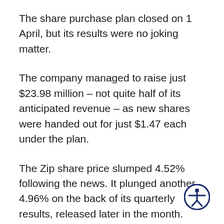The share purchase plan closed on 1 April, but its results were no joking matter.
The company managed to raise just $23.98 million – not quite half of its anticipated revenue – as new shares were handed out for just $1.47 each under the plan.
The Zip share price slumped 4.52% following the news. It plunged another 4.96% on the back of its quarterly results, released later in the month.
The company reported increases in its revenue and transaction volumes. Though, the
[Figure (other): Accessibility icon — a circular button with a dark navy border and white background containing a white stylized person figure with arms outstretched, used for accessibility settings.]